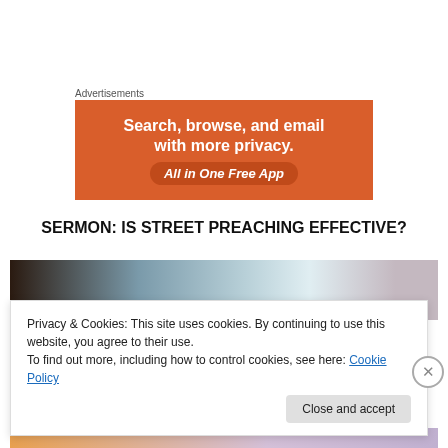Advertisements
[Figure (infographic): Orange advertisement banner with white bold text 'Search, browse, and email with more privacy.' and a button-style label 'All in One Free App']
SERMON: IS STREET PREACHING EFFECTIVE?
[Figure (photo): Partial photo strip showing a room interior with dark curtains on the sides and bright light in the center]
Privacy & Cookies: This site uses cookies. By continuing to use this website, you agree to their use.
To find out more, including how to control cookies, see here: Cookie Policy
Close and accept